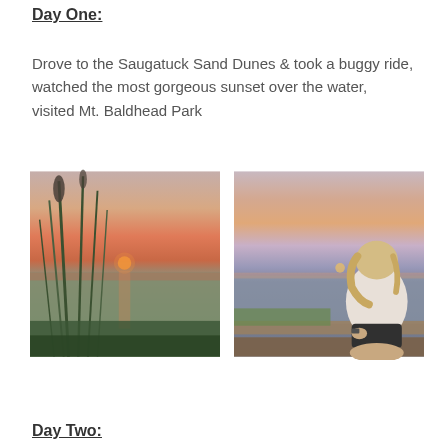Day One:
Drove to the Saugatuck Sand Dunes & took a buggy ride, watched the most gorgeous sunset over the water, visited Mt. Baldhead Park
[Figure (photo): Sunset over water photographed through tall beach grass, with the sun as an orange circle just above the horizon]
[Figure (photo): A blonde woman in a white t-shirt and dark shorts sitting on a wooden railing, looking at the sunset over the water]
Day Two: